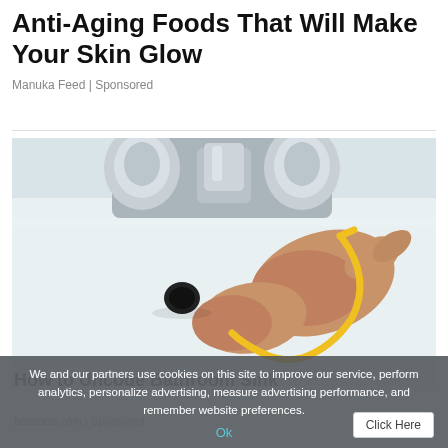Anti-Aging Foods That Will Make Your Skin Glow
Manuka Feed | Sponsored
[Figure (photo): Close-up photo of hands using a yellow flexible drain cleaning tool near a bathroom sink faucet. The sink is white with a black drain hole visible, and chrome faucet handles in the background.]
We and our partners use cookies on this site to improve our service, perform analytics, personalize advertising, measure advertising performance, and remember website preferences.
Ok
How to Uncode Bathroom Sink
besttools.com | Sponsored
Click Here